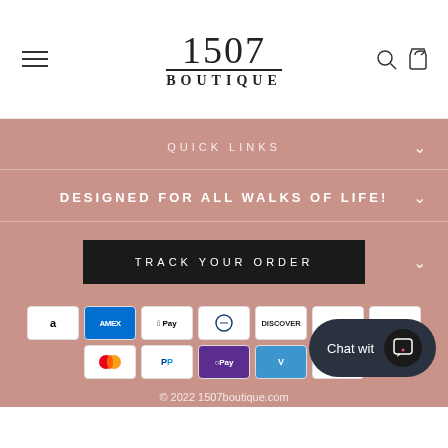1507 BOUTIQUE
QUICK LINKS
DESIGNED FOR ALL WALKS OF LIFE!
TRACK YOUR ORDER
[Figure (logo): Payment method logos: Amazon, Amex, Apple Pay, Diners Club, Discover, Meta Pay, Google Pay, Mastercard, PayPal, Apple Pay (OPay), Venmo, Visa]
© 2022 1507boutique.com